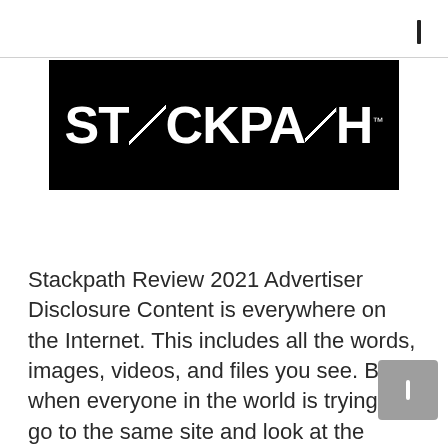[Figure (logo): StackPath logo — white bold text on black background with TM mark]
Stackpath Review 2021 Advertiser Disclosure Content is everywhere on the Internet. This includes all the words, images, videos, and files you see. But when everyone in the world is trying to go to the same site and look at the same content, it builds up a lot of traffic...